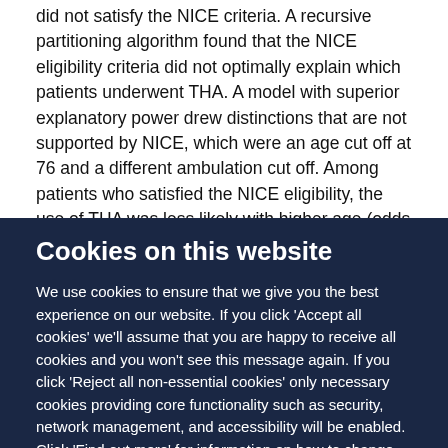did not satisfy the NICE criteria. A recursive partitioning algorithm found that the NICE eligibility criteria did not optimally explain which patients underwent THA. A model with superior explanatory power drew distinctions that are not supported by NICE, which were an age cut off at 76 and a different ambulation cut off. Among patients who satisfied the NICE eligibility, the use of THA was less likely with higher age (odds ratio 0.88, 95% confidence interval 0.87 to 0.88),
Cookies on this website
We use cookies to ensure that we give you the best experience on our website. If you click 'Accept all cookies' we'll assume that you are happy to receive all cookies and you won't see this message again. If you click 'Reject all non-essential cookies' only necessary cookies providing core functionality such as security, network management, and accessibility will be enabled. Click 'Find out more' for information on how to change your cookie settings.